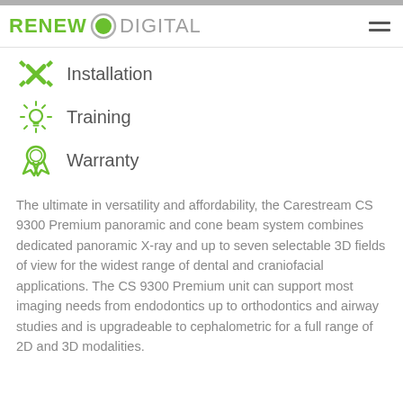RENEW DIGITAL
Installation
Training
Warranty
The ultimate in versatility and affordability, the Carestream CS 9300 Premium panoramic and cone beam system combines dedicated panoramic X-ray and up to seven selectable 3D fields of view for the widest range of dental and craniofacial applications. The CS 9300 Premium unit can support most imaging needs from endodontics up to orthodontics and airway studies and is upgradeable to cephalometric for a full range of 2D and 3D modalities.